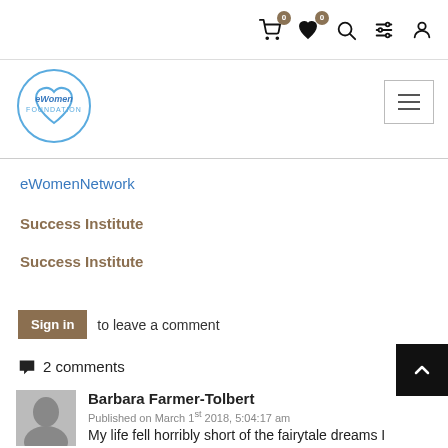[Figure (screenshot): Website navigation top bar with cart icon (badge 0), heart icon (badge 0), search icon, filter icon, user icon]
[Figure (logo): eWomen Foundation logo — circular logo with heart shape and text]
[Figure (other): Hamburger menu button (three horizontal lines) in a bordered box]
eWomenNetwork
Success Institute
Success Institute
Sign in to leave a comment
2 comments
Barbara Farmer-Tolbert
Published on March 1st 2018, 5:04:17 am
My life fell horribly short of the fairytale dreams I